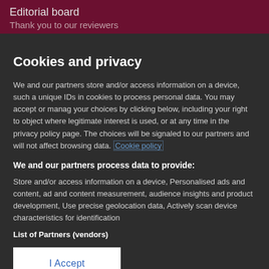Editorial board
Thank you to our reviewers
Cookies and privacy
We and our partners store and/or access information on a device, such as unique IDs in cookies to process personal data. You may accept or manage your choices by clicking below, including your right to object where legitimate interest is used, or at any time in the privacy policy page. These choices will be signaled to our partners and will not affect browsing data. Cookie policy
We and our partners process data to provide:
Store and/or access information on a device, Personalised ads and content, ad and content measurement, audience insights and product development, Use precise geolocation data, Actively scan device characteristics for identification
List of Partners (vendors)
I Accept